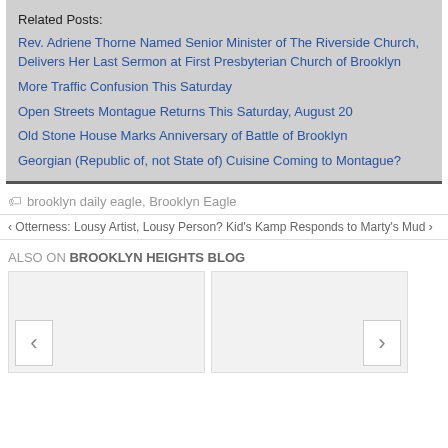Related Posts:
Rev. Adriene Thorne Named Senior Minister of The Riverside Church, Delivers Her Last Sermon at First Presbyterian Church of Brooklyn
More Traffic Confusion This Saturday
Open Streets Montague Returns This Saturday, August 20
Old Stone House Marks Anniversary of Battle of Brooklyn
Georgian (Republic of, not State of) Cuisine Coming to Montague?
brooklyn daily eagle, Brooklyn Eagle
‹ Otterness: Lousy Artist, Lousy Person? Kid's Kamp Responds to Marty's Mud ›
ALSO ON BROOKLYN HEIGHTS BLOG
[Figure (screenshot): Two placeholder content cards with left and right navigation arrows]